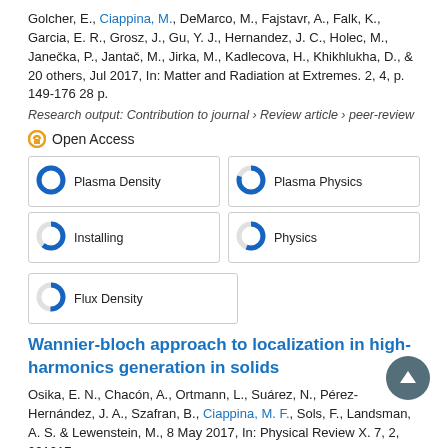Golcher, E., Ciappina, M., DeMarco, M., Fajstavr, A., Falk, K., Garcia, E. R., Grosz, J., Gu, Y. J., Hernandez, J. C., Holec, M., Janečka, P., Jantač, M., Jirka, M., Kadlecova, H., Khikhlukha, D., & 20 others, Jul 2017, In: Matter and Radiation at Extremes. 2, 4, p. 149-176 28 p.
Research output: Contribution to journal › Review article › peer-review
Open Access
[Figure (infographic): Five keyword boxes arranged in a grid: Plasma Density (100%), Plasma Physics (~80%), Installing (~60%), Physics (~55%), Flux Density (~50%)]
Wannier-bloch approach to localization in high-harmonics generation in solids
Osika, E. N., Chacón, A., Ortmann, L., Suárez, N., Pérez-Hernández, J. A., Szafran, B., Ciappina, M. F., Sols, F., Landsman, A. S. & Lewenstein, M., 8 May 2017, In: Physical Review X. 7, 2, 021017.
Research output: Contribution to journal › Research article